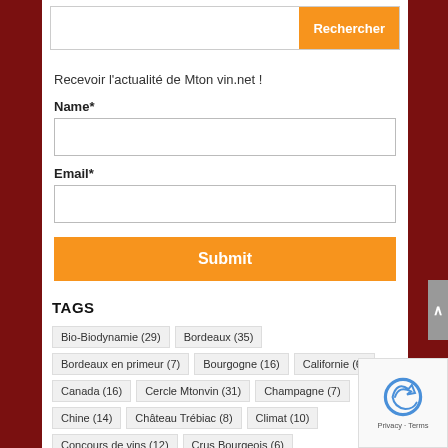[Figure (screenshot): Search bar with orange Rechercher button]
Recevoir l'actualité de Mton vin.net !
Name*
[Figure (screenshot): Empty Name text input field]
Email*
[Figure (screenshot): Empty Email text input field]
[Figure (screenshot): Orange Submit button]
TAGS
Bio-Biodynamie (29)
Bordeaux (35)
Bordeaux en primeur (7)
Bourgogne (16)
Californie (6)
Canada (16)
Cercle Mtonvin (31)
Champagne (7)
Chine (14)
Château Trébiac (8)
Climat (10)
Concours de vins (12)
Crus Bourgeois (6)
Cuvée spéciale (8)
Espagne (17)
Festival Musica Vini (29)